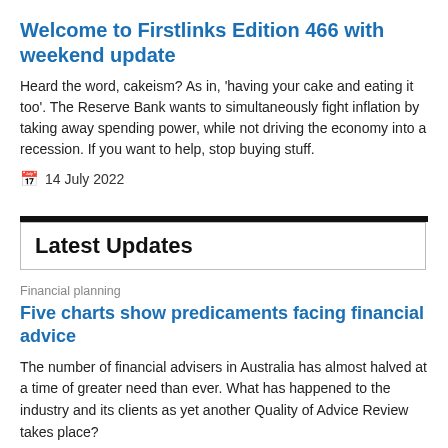Welcome to Firstlinks Edition 466 with weekend update
Heard the word, cakeism? As in, 'having your cake and eating it too'. The Reserve Bank wants to simultaneously fight inflation by taking away spending power, while not driving the economy into a recession. If you want to help, stop buying stuff.
14 July 2022
Latest Updates
Financial planning
Five charts show predicaments facing financial advice
The number of financial advisers in Australia has almost halved at a time of greater need than ever. What has happened to the industry and its clients as yet another Quality of Advice Review takes place?